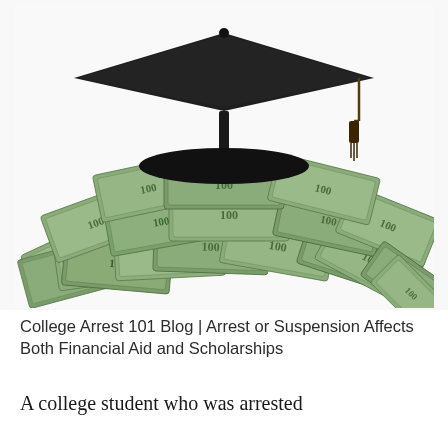[Figure (illustration): A pile of US dollar bills with a black graduation cap (mortarboard) sitting on top, on a white background.]
College Arrest 101 Blog | Arrest or Suspension Affects Both Financial Aid and Scholarships
A college student who was arrested